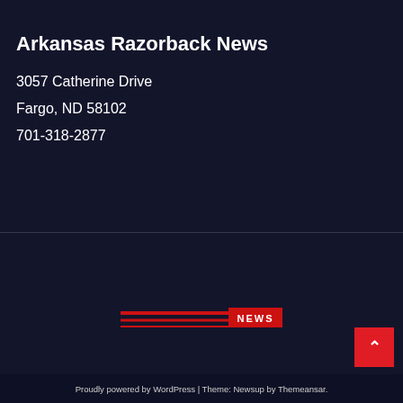Arkansas Razorback News
3057 Catherine Drive
Fargo, ND 58102
701-318-2877
[Figure (logo): Arkansas Razorback News logo with red diagonal lines and NEWS text badge]
Proudly powered by WordPress | Theme: Newsup by Themeansar.